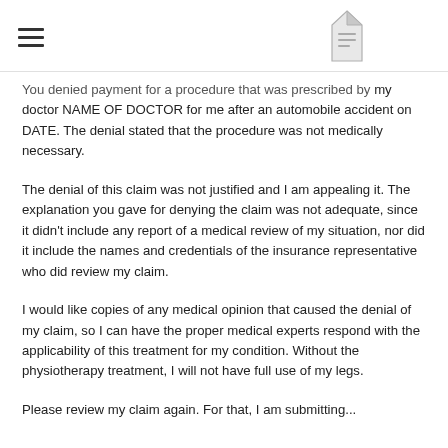You denied payment for a procedure that was prescribed by my doctor NAME OF DOCTOR for me after an automobile accident on DATE. The denial stated that the procedure was not medically necessary.
The denial of this claim was not justified and I am appealing it. The explanation you gave for denying the claim was not adequate, since it didn't include any report of a medical review of my situation, nor did it include the names and credentials of the insurance representative who did review my claim.
I would like copies of any medical opinion that caused the denial of my claim, so I can have the proper medical experts respond with the applicability of this treatment for my condition. Without the physiotherapy treatment, I will not have full use of my legs.
Please review my claim again. For that, I am submitting...